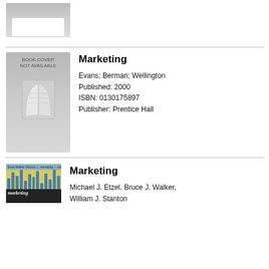[Figure (illustration): Partial book cover placeholder image (cropped top portion visible) — gray gradient with white rectangle at bottom]
[Figure (illustration): Book cover placeholder with text 'BOOK COVER NOT AVAILABLE' and stylized open book icon on gray gradient background]
Marketing
Evans; Berman; Wellington
Published: 2000
ISBN: 0130175897
Publisher: Prentice Hall
[Figure (illustration): Actual book cover thumbnail for Marketing by Etzel, Walker, Stanton — yellow background with bar chart graphic and dark title band]
Marketing
Michael J. Etzel, Bruce J. Walker, William J. Stanton